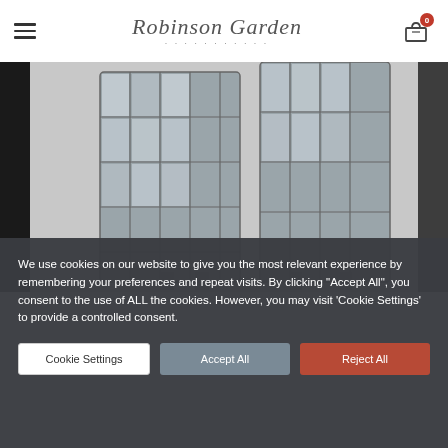[Figure (logo): Robinson Garden script logo with decorative flourish]
[Figure (photo): Close-up photo of a metal garden lantern with glass panels, gray/silver finish]
We use cookies on our website to give you the most relevant experience by remembering your preferences and repeat visits. By clicking “Accept All”, you consent to the use of ALL the cookies. However, you may visit 'Cookie Settings' to provide a controlled consent.
Cookie Settings
Accept All
Reject All